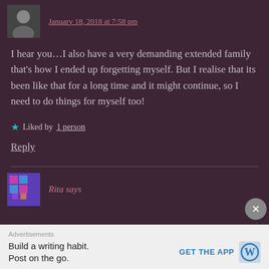January 18, 2018 at 7:58 pm
I hear you…I also have a very demanding extended family that's how I ended up forgetting myself. But I realise that its been like that for a long time and it might continue, so I need to do things for myself too!
Liked by 1 person
Reply
Rita says
Advertisements
Build a writing habit.
Post on the go.
GET THE APP